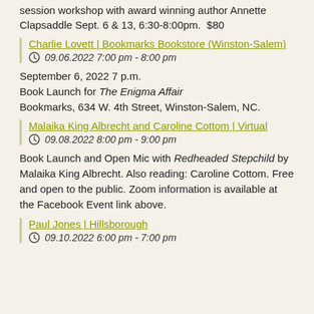session workshop with award winning author Annette Clapsaddle Sept. 6 & 13, 6:30-8:00pm.  $80
Charlie Lovett | Bookmarks Bookstore (Winston-Salem)
09.06.2022 7:00 pm - 8:00 pm
September 6, 2022 7 p.m.
Book Launch for The Enigma Affair
Bookmarks, 634 W. 4th Street, Winston-Salem, NC.
Malaika King Albrecht and Caroline Cottom | Virtual
09.08.2022 8:00 pm - 9:00 pm
Book Launch and Open Mic with Redheaded Stepchild by Malaika King Albrecht. Also reading: Caroline Cottom. Free and open to the public. Zoom information is available at the Facebook Event link above.
Paul Jones | Hillsborough
09.10.2022 6:00 pm - 7:00 pm